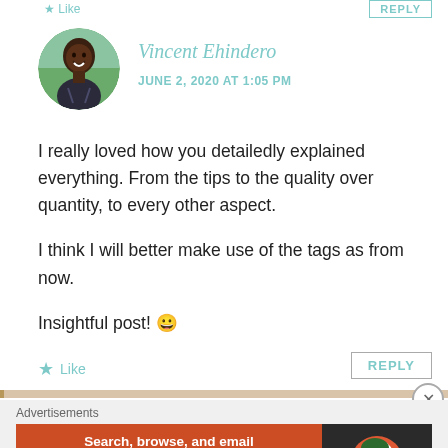Like
REPLY
[Figure (photo): Circular avatar photo of Vincent Ehindero, a smiling person outdoors]
Vincent Ehindero
JUNE 2, 2020 AT 1:05 PM
I really loved how you detailedly explained everything. From the tips to the quality over quantity, to every other aspect.

I think I will better make use of the tags as from now.

Insightful post! 😀
Like
REPLY
Advertisements
[Figure (screenshot): DuckDuckGo advertisement banner: orange section with text 'Search, browse, and email with more privacy. All in One Free App' and dark section with DuckDuckGo duck logo]